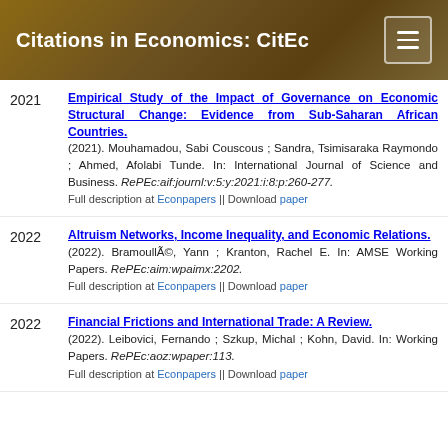Citations in Economics: CitEc
Empirical Study of the Impact of Governance on Economic Structural Change: Evidence from Sub-Saharan African Countries. (2021). Mouhamadou, Sabi Couscous ; Sandra, Tsimisaraka Raymondo ; Ahmed, Afolabi Tunde. In: International Journal of Science and Business. RePEc:aif:journl:v:5:y:2021:i:8:p:260-277. Full description at Econpapers || Download paper
Altruism Networks, Income Inequality, and Economic Relations. (2022). BramoullÃ©, Yann ; Kranton, Rachel E. In: AMSE Working Papers. RePEc:aim:wpaimx:2202. Full description at Econpapers || Download paper
Financial Frictions and International Trade: A Review. (2022). Leibovici, Fernando ; Szkup, Michal ; Kohn, David. In: Working Papers. RePEc:aoz:wpaper:113. Full description at Econpapers || Download paper